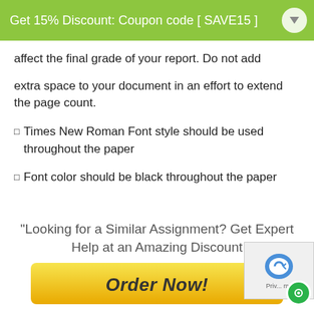Get 15% Discount: Coupon code [ SAVE15 ]
affect the final grade of your report. Do not add
extra space to your document in an effort to extend the page count.
Times New Roman Font style should be used throughout the paper
Font color should be black throughout the paper
"Looking for a Similar Assignment? Get Expert Help at an Amazing Discount
[Figure (other): Order Now button (yellow gradient button with bold italic text) and reCAPTCHA overlay widget with green circle icon]